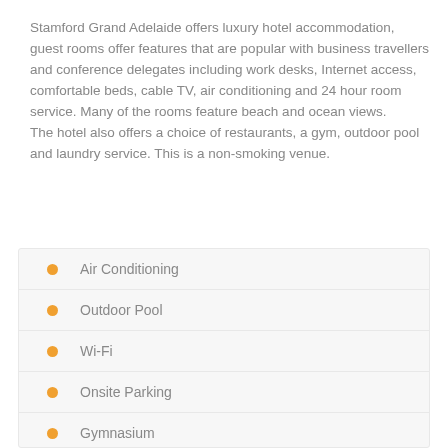Stamford Grand Adelaide offers luxury hotel accommodation, guest rooms offer features that are popular with business travellers and conference delegates including work desks, Internet access, comfortable beds, cable TV, air conditioning and 24 hour room service. Many of the rooms feature beach and ocean views. The hotel also offers a choice of restaurants, a gym, outdoor pool and laundry service. This is a non-smoking venue.
Air Conditioning
Outdoor Pool
Wi-Fi
Onsite Parking
Gymnasium